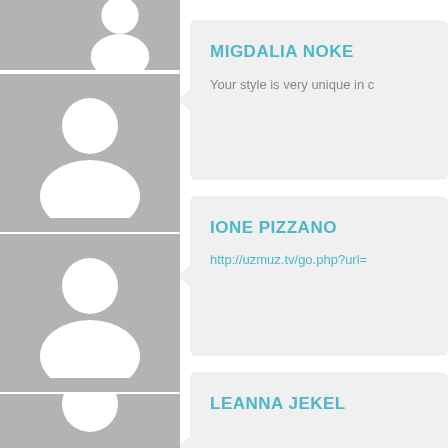[Figure (illustration): Avatar placeholder icon 1 - white silhouette person on gray background]
[Figure (illustration): Avatar placeholder icon 2 - white silhouette person on gray background]
[Figure (illustration): Avatar placeholder icon 3 (partial) - white silhouette person on gray background]
MIGDALIA NOKE
Your style is very unique in c
IONE PIZZANO
http://uzmuz.tv/go.php?url=
LEANNA JEKEL